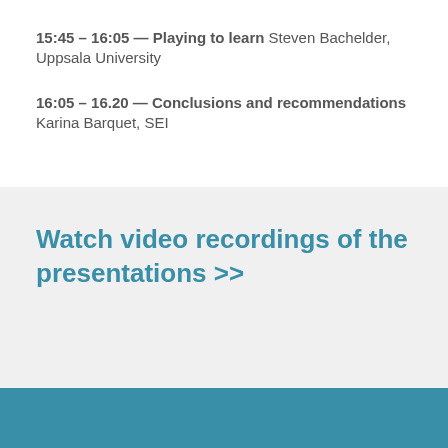15:45 – 16:05 — Playing to learn Steven Bachelder, Uppsala University
16:05 – 16.20 — Conclusions and recommendations Karina Barquet, SEI
Watch video recordings of the presentations >>